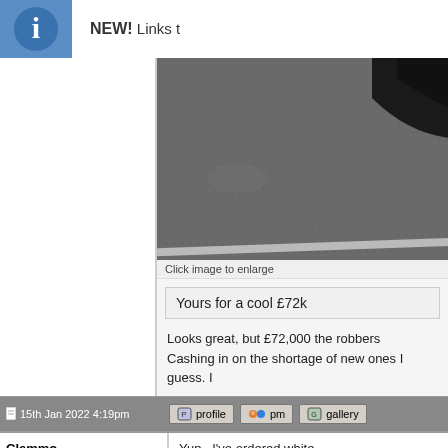NEW! Links t
[Figure (photo): Close-up photo of dark asphalt/road surface with a dark shoe/boot visible in the top right corner and a white road marking line near the bottom]
Click image to enlarge
Yours for a cool £72k
Looks great, but £72,000 the robbers
Cashing in on the shortage of new ones I guess. I
15th Jan 2022 4:19pm
Clemmo
Yup.. I've ordered white.